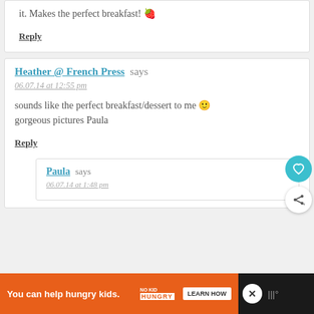it. Makes the perfect breakfast! 🍓
Reply
Heather @ French Press says
06.07.14 at 12:55 pm
sounds like the perfect breakfast/dessert to me 🙂 gorgeous pictures Paula
Reply
Paula says
06.07.14 at 1:48 pm
You can help hungry kids. NO KID HUNGRY LEARN HOW